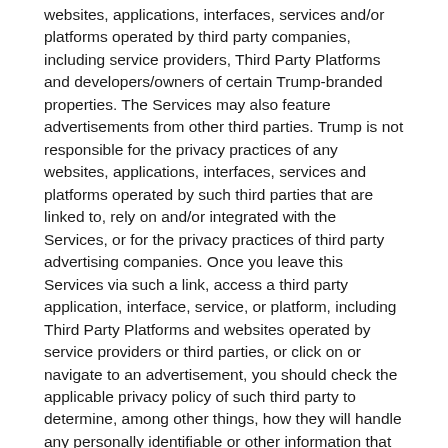websites, applications, interfaces, services and/or platforms operated by third party companies, including service providers, Third Party Platforms and developers/owners of certain Trump-branded properties. The Services may also feature advertisements from other third parties. Trump is not responsible for the privacy practices of any websites, applications, interfaces, services and platforms operated by such third parties that are linked to, rely on and/or integrated with the Services, or for the privacy practices of third party advertising companies. Once you leave this Services via such a link, access a third party application, interface, service, or platform, including Third Party Platforms and websites operated by service providers or third parties, or click on or navigate to an advertisement, you should check the applicable privacy policy of such third party to determine, among other things, how they will handle any personally identifiable or other information that they may collect from you.
14. How Can You Contact Us?